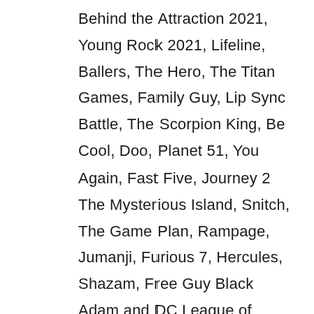Behind the Attraction 2021, Young Rock 2021, Lifeline, Ballers, The Hero, The Titan Games, Family Guy, Lip Sync Battle, The Scorpion King, Be Cool, Doo, Planet 51, You Again, Fast Five, Journey 2 The Mysterious Island, Snitch, The Game Plan, Rampage, Jumanji, Furious 7, Hercules, Shazam, Free Guy Black Adam and DC League of Super-Pets. The Rock has completed 44 films, 18 television series & shows along with 7 Hosting programs and 6 music videos.